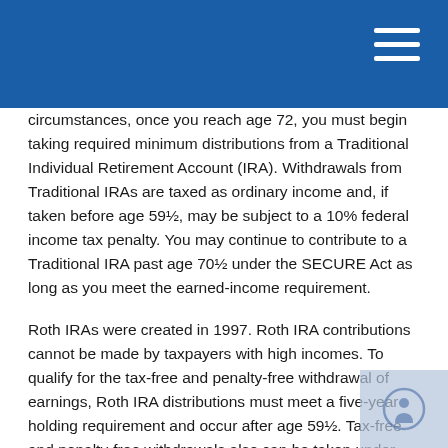circumstances, once you reach age 72, you must begin taking required minimum distributions from a Traditional Individual Retirement Account (IRA). Withdrawals from Traditional IRAs are taxed as ordinary income and, if taken before age 59½, may be subject to a 10% federal income tax penalty. You may continue to contribute to a Traditional IRA past age 70½ under the SECURE Act as long as you meet the earned-income requirement.
Roth IRAs were created in 1997. Roth IRA contributions cannot be made by taxpayers with high incomes. To qualify for the tax-free and penalty-free withdrawal of earnings, Roth IRA distributions must meet a five-year holding requirement and occur after age 59½. Tax-free and penalty-free withdrawals also can be taken under certain other circumstances, such as a result of the owner's death. The original Roth IRA owner is not